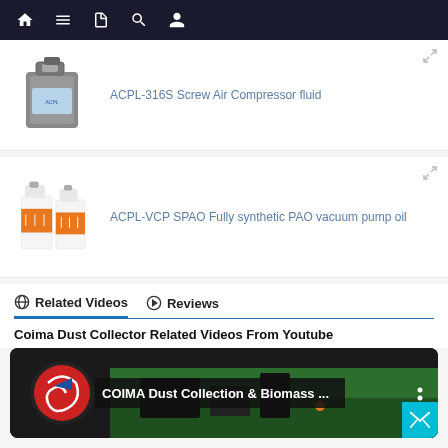Navigation bar with home, menu, document, search, and user icons
ACPL-316S Screw Air Compressor fluid
ACPL-VCP SPAO Fully synthetic PAO vacuum pump oil
Related Videos   Reviews
Coima Dust Collector Related Videos From Youtube
[Figure (screenshot): YouTube video thumbnail showing COIMA Dust Collection & Biomass ... with COIMA logo and green field scene]